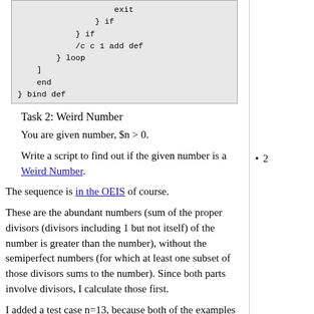[Figure (screenshot): Code block showing PostScript/Forth-like code with exit, if, loop, bind def statements]
Task 2: Weird Number
You are given number, $n > 0.
Write a script to find out if the given number is a Weird Number.
The sequence is in the OEIS of course.
These are the abundant numbers (sum of the proper divisors (divisors including 1 but not itself) of the number is greater than the number), without the semiperfect numbers (for which at least one subset of those divisors sums to the number). Since both parts involve divisors, I calculate those first.
I added a test case n=13, because both of the examples given are abundant, so the non-abundant...
20